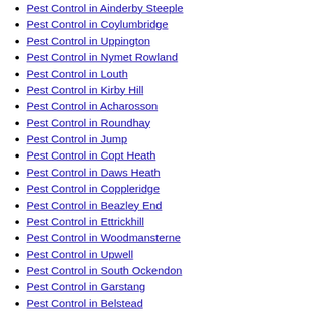Pest Control in Ainderby Steeple
Pest Control in Coylumbridge
Pest Control in Uppington
Pest Control in Nymet Rowland
Pest Control in Louth
Pest Control in Kirby Hill
Pest Control in Acharosson
Pest Control in Roundhay
Pest Control in Jump
Pest Control in Copt Heath
Pest Control in Daws Heath
Pest Control in Coppleridge
Pest Control in Beazley End
Pest Control in Ettrickhill
Pest Control in Woodmansterne
Pest Control in Upwell
Pest Control in South Ockendon
Pest Control in Garstang
Pest Control in Belstead
Pest Control in Tye Common
Pest Control in Hewish
Pest Control in Wiveton
Pest Control in South Zeal
Pest Control in Great Bealings
Pest Control in Flaxley